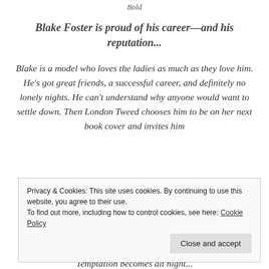Bold
Blake Foster is proud of his career—and his reputation...
Blake is a model who loves the ladies as much as they love him. He's got great friends, a successful career, and definitely no lonely nights. He can't understand why anyone would want to settle down. Then London Tweed chooses him to be on her next book cover and invites him
Privacy & Cookies: This site uses cookies. By continuing to use this website, you agree to their use.
To find out more, including how to control cookies, see here: Cookie Policy
Close and accept
Temptation becomes alt night...